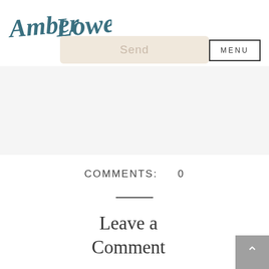[Figure (logo): Amber Lowe Photo cursive/script logo in teal/dark teal color]
Send
MENU
COMMENTS:   0
Leave a Comment